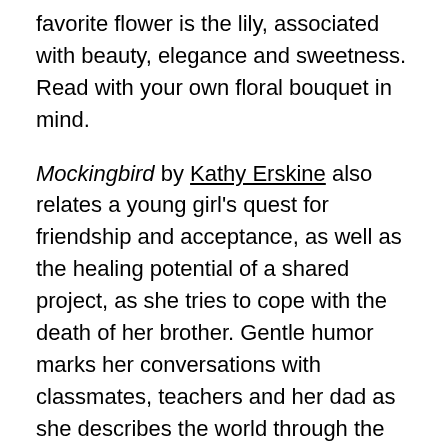favorite flower is the lily, associated with beauty, elegance and sweetness. Read with your own floral bouquet in mind.
Mockingbird by Kathy Erskine also relates a young girl's quest for friendship and acceptance, as well as the healing potential of a shared project, as she tries to cope with the death of her brother. Gentle humor marks her conversations with classmates, teachers and her dad as she describes the world through the lens of Asperger's syndrome.
Boys join in and Saturday Night Live take note! Bo, the lively main character in Sara Lewis Holmes' Operation Yes, learns to love improv. Can he also raise his academic standing at his school on an Air Force base and then mend a rift with his dad that seems as persistent as an F-16 jet racing down the runway? Theater might be fun, but it has nothing to do with